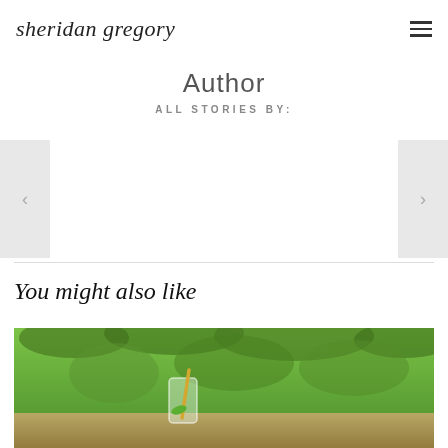sheridan gregory
Author
ALL STORIES BY:
[Figure (other): Carousel/slider navigation area with left and right arrow buttons on grey backgrounds, empty content area in center]
You might also like
[Figure (photo): Photo of a green plant with a glass and gold straw, outdoor garden setting]